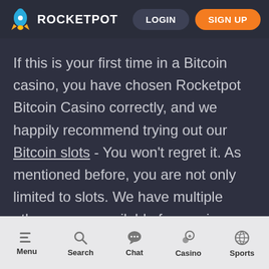ROCKETPOT | LOGIN | SIGN UP
If this is your first time in a Bitcoin casino, you have chosen Rocketpot Bitcoin Casino correctly, and we happily recommend trying out our Bitcoin slots - You won't regret it. As mentioned before, you are not only limited to slots. We have multiple other games available for you in our vast catalog! There are a
Menu | Search | Chat | Casino | Sports